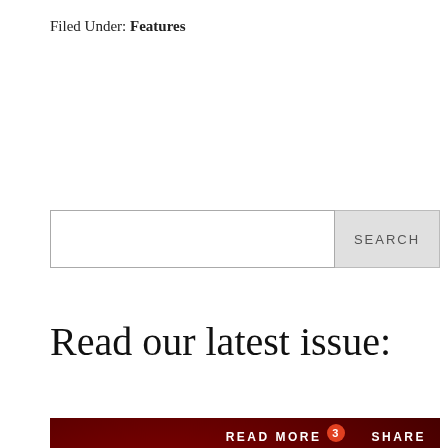Filed Under: Features
[Figure (screenshot): Search bar with text input field and SEARCH button]
Read our latest issue:
[Figure (screenshot): SIN Student Independent News magazine preview on dark red background with READ MORE (3) and SHARE buttons at top, showing magazine cover with city lights and building photographs]